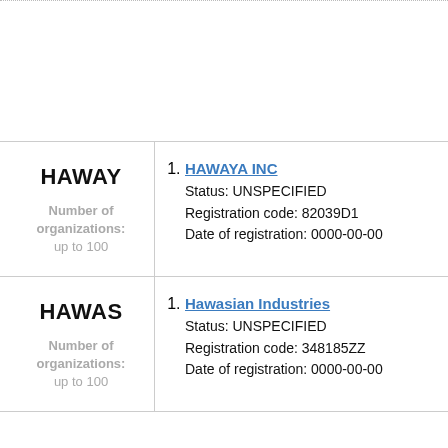| Keyword | Organizations |
| --- | --- |
| HAWAY
Number of organizations: up to 100 | 1. HAWAYA INC
Status: UNSPECIFIED
Registration code: 82039D1
Date of registration: 0000-00-00 |
| HAWAS
Number of organizations: up to 100 | 1. Hawasian Industries
Status: UNSPECIFIED
Registration code: 348185ZZ
Date of registration: 0000-00-00 |